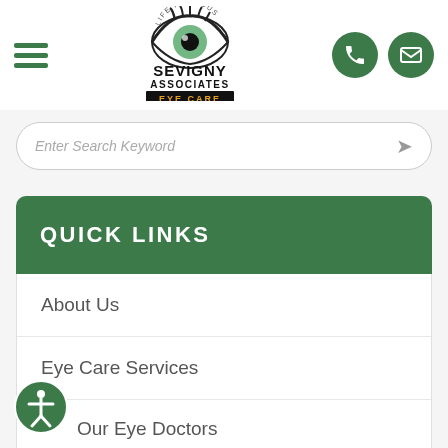[Figure (logo): Sevigny Associates Eye Care logo with eye graphic and text 'Life In Focus']
Enter Search Keyword
QUICK LINKS
About Us
Eye Care Services
Our Eye Doctors